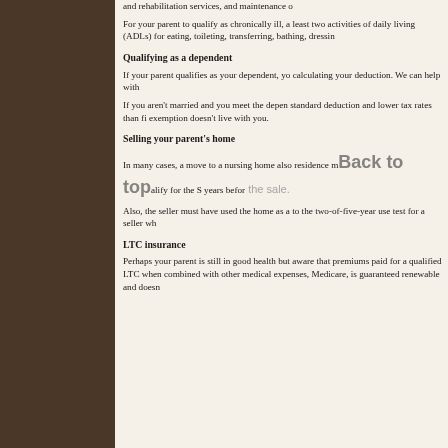and rehabilitation services, and maintenance o
For your parent to qualify as chronically ill, a least two activities of daily living (ADLs) for eating, toileting, transferring, bathing, dressin
Qualifying as a dependent
If your parent qualifies as your dependent, yo calculating your deduction. We can help with
If you aren't married and you meet the depen standard deduction and lower tax rates than fi exemption doesn't live with you.
Selling your parent's home
In many cases, a move to a nursing home also residence m[Back to top]alify for the S years befor the sale.
Also, the seller must have used the home as a to the two-of-five-year use test for a seller wh
LTC insurance
Perhaps your parent is still in good health but aware that premiums paid for a qualified LTC when combined with other medical expenses, Medicare, is guaranteed renewable and doesn